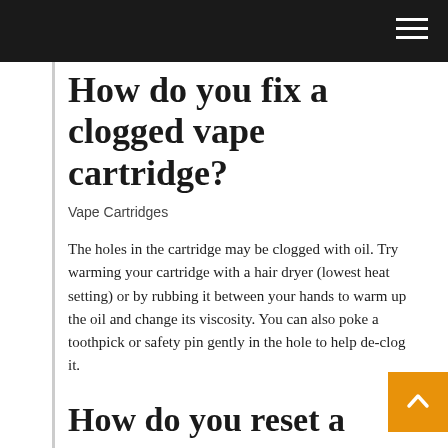How do you fix a clogged vape cartridge?
Vape Cartridges
The holes in the cartridge may be clogged with oil. Try warming your cartridge with a hair dryer (lowest heat setting) or by rubbing it between your hands to warm up the oil and change its viscosity. You can also poke a toothpick or safety pin gently in the hole to help de-clog it.
How do you reset a vape?
Reset the tank – You can ‘reset’ the tank by removing it from the mod, checking the screws are tight and pressing the fire button. Then re-attach your tank and select “n” when you are asked if it is a new coil. If this does not work, move on to the next steps.